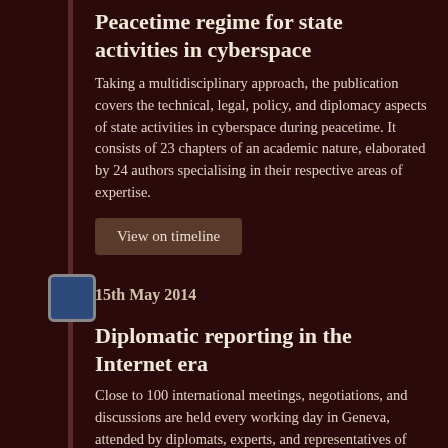Peacetime regime for state activities in cyberspace
Taking a multidisciplinary approach, the publication covers the technical, legal, policy, and diplomacy aspects of state activities in cyberspace during peacetime. It consists of 23 chapters of an academic nature, elaborated by 24 authors specialising in their respective areas of expertise.
View on timeline
15th May 2014
Diplomatic reporting in the Internet era
Close to 100 international meetings, negotiations, and discussions are held every working day in Geneva, attended by diplomats, experts, and representatives of civil society, and business people who must report back to their governments, organisations, or companies. The volume of person-hours and reporting is